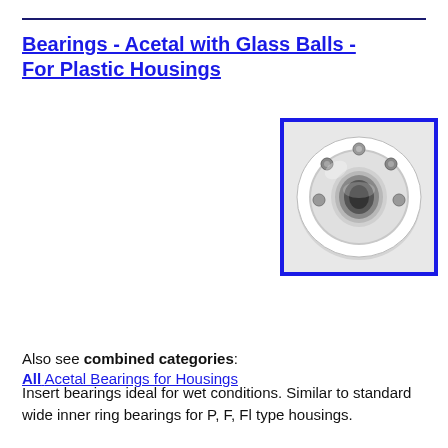Bearings - Acetal with Glass Balls - For Plastic Housings
[Figure (photo): Photo of a white acetal bearing with glass balls, shown from the front with the inner ring visible, surrounded by a blue rectangular border.]
Sizes & Prices
Also see combined categories:
All Acetal Bearings for Housings
Insert bearings ideal for wet conditions. Similar to standard wide inner ring bearings for P, F, Fl type housings.